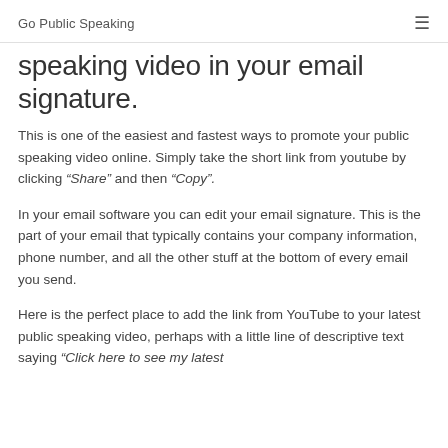Go Public Speaking
speaking video in your email signature.
This is one of the easiest and fastest ways to promote your public speaking video online. Simply take the short link from youtube by clicking “Share” and then “Copy”.
In your email software you can edit your email signature. This is the part of your email that typically contains your company information, phone number, and all the other stuff at the bottom of every email you send.
Here is the perfect place to add the link from YouTube to your latest public speaking video, perhaps with a little line of descriptive text saying “Click here to see my latest